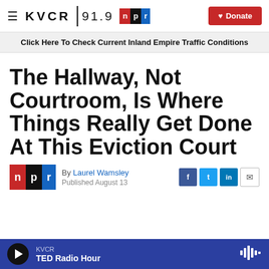KVCR 91.9 npr | Donate
Click Here To Check Current Inland Empire Traffic Conditions
The Hallway, Not Courtroom, Is Where Things Really Get Done At This Eviction Court
By Laurel Wamsley
Published August 13
KVCR TED Radio Hour